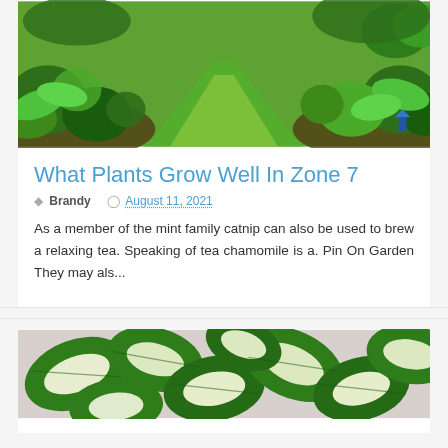[Figure (photo): Garden with green lawn path flanked by garden beds with hostas and various plants]
What Plants Grow Well In Zone 7
Brandy   August 11, 2021
As a member of the mint family catnip can also be used to brew a relaxing tea. Speaking of tea chamomile is a. Pin On Garden They may als...
[Figure (photo): Close-up of variegated green and white leaves of a plant]